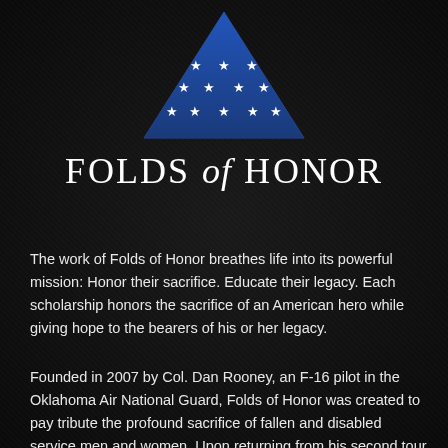[Figure (logo): Folds of Honor logo: blue triangle/folded flag shape with white stars arranged in rows on a dark background]
FOLDS of HONOR
The work of Folds of Honor breathes life into its powerful mission: Honor their sacrifice. Educate their legacy. Each scholarship honors the sacrifice of an American hero while giving hope to the bearers of his or her legacy.
Founded in 2007 by Col. Dan Rooney, an F-16 pilot in the Oklahoma Air National Guard, Folds of Honor was created to pay tribute the profound sacrifice of fallen and disabled service men and women. Upon returning from his second tour of duty in Iraq—with the remains of a fallen US veteran, Col. Rooney committed his life to serving the families of fallen and gravely wounded service members.